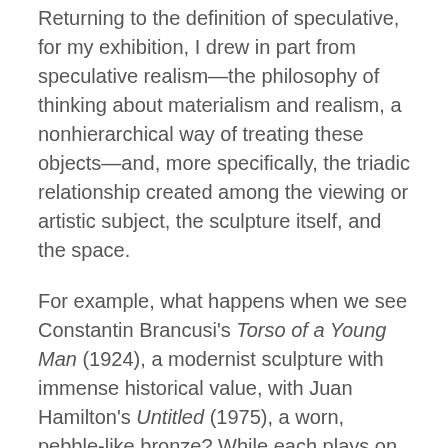Returning to the definition of speculative, for my exhibition, I drew in part from speculative realism—the philosophy of thinking about materialism and realism, a nonhierarchical way of treating these objects—and, more specifically, the triadic relationship created among the viewing or artistic subject, the sculpture itself, and the space.
For example, what happens when we see Constantin Brancusi's Torso of a Young Man (1924), a modernist sculpture with immense historical value, with Juan Hamilton's Untitled (1975), a worn, pebble-like bronze? While each plays on anthropomorphic abstraction, there is a collapsing of hierarchical values established by medium or genre. When looking at your selection of things, both found and fabricated, a similar leveling occurs.